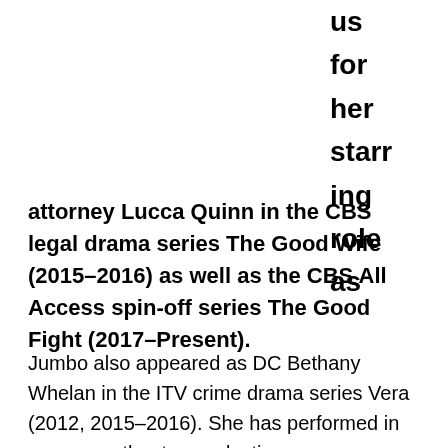us for her starring role as
attorney Lucca Quinn in the CBS legal drama series The Good Wife (2015–2016) as well as the CBS All Access spin-off series The Good Fight (2017–Present).
Jumbo also appeared as DC Bethany Whelan in the ITV crime drama series Vera (2012, 2015–2016). She has performed in numerous theatre productions.